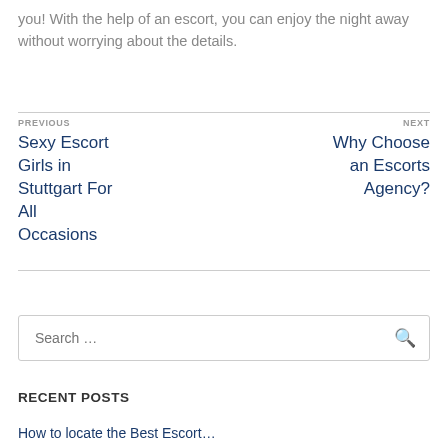you! With the help of an escort, you can enjoy the night away without worrying about the details.
PREVIOUS
Sexy Escort Girls in Stuttgart For All Occasions
NEXT
Why Choose an Escorts Agency?
Search …
RECENT POSTS
How to locate the Best Escort…